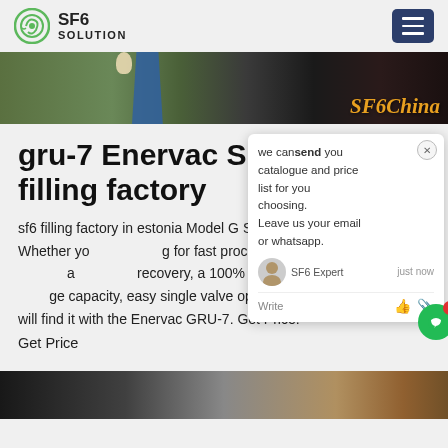SF6 SOLUTION
[Figure (photo): Hero image strip showing a person in blue jacket outdoors with SF6China watermark text in orange italic]
gru-7 Enervac SF6 filling factory
sf6 filling factory in estonia Model G SF6 Gas Recovery Unit. Whether you are looking for fast processing speed, better accuracy, deeper recovery, a 100% oil-less system, unlimited storage capacity, easy single valve operation, or portability, you will find it with the Enervac GRU-7. Get Price.
Get Price
[Figure (screenshot): Chat popup widget showing: 'we can send you catalogue and price list for you choosing. Leave us your email or whatsapp.' with SF6 Expert avatar, 'just now' timestamp, and Write input row with thumbs up and paperclip icons. Green chat bubble button with red notification badge showing 1 in bottom right corner.]
[Figure (photo): Bottom image strip showing industrial/factory equipment in dark tones with golden equipment on right side]